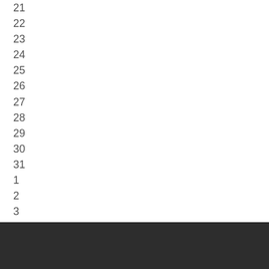21
22
23
24
25
26
27
28
29
30
31
1
2
3